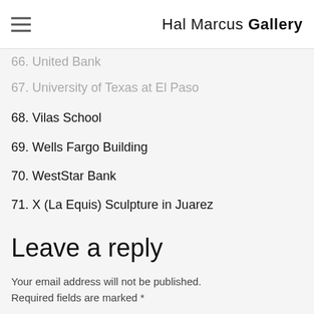Hal Marcus Gallery
66. United Bank
67. University of Texas at El Paso
68. Vilas School
69. Wells Fargo Building
70. WestStar Bank
71. X (La Equis) Sculpture in Juarez
Leave a reply
Your email address will not be published. Required fields are marked *